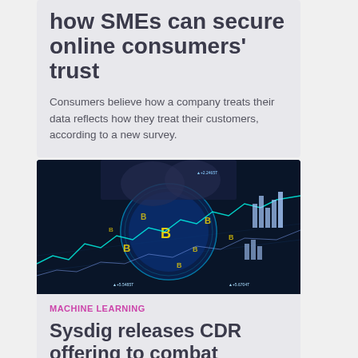how SMEs can secure online consumers' trust
Consumers believe how a company treats their data reflects how they treat their customers, according to a new survey.
[Figure (photo): Hands touching a glowing globe with Bitcoin symbols and financial chart overlays on a dark blue background]
MACHINE LEARNING
Sysdig releases CDR offering to combat